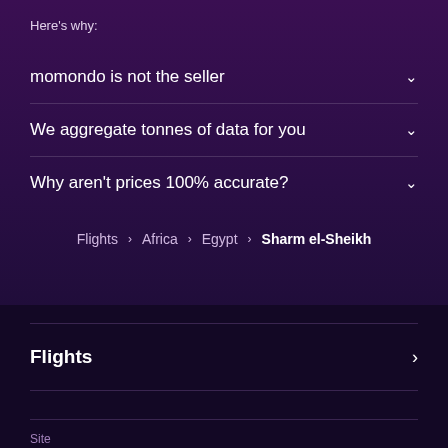Here's why:
momondo is not the seller
We aggregate tonnes of data for you
Why aren't prices 100% accurate?
Flights › Africa › Egypt › Sharm el-Sheikh
Flights
Site
SOUTH AFRICA